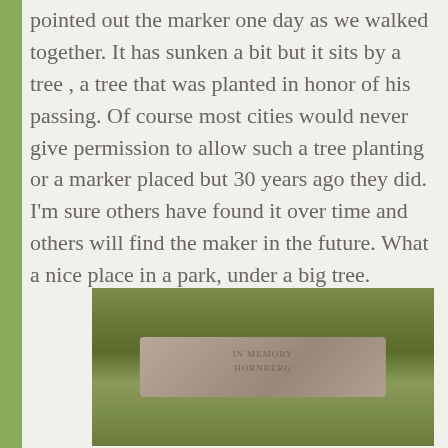pointed out the marker one day as we walked together. It has sunken a bit but it sits by a tree , a tree that was planted in honor of his passing. Of course most cities would never give permission to allow such a tree planting or a marker placed but 30 years ago they did. I'm sure others have found it over time and others will find the maker in the future. What a nice place in a park, under a big tree.
[Figure (photo): A photograph of a flat stone memorial marker partially sunken into the ground and surrounded by grass and weeds. The marker reads 'IN MEMORY' and 'HORNBERG' with additional partially visible text.]